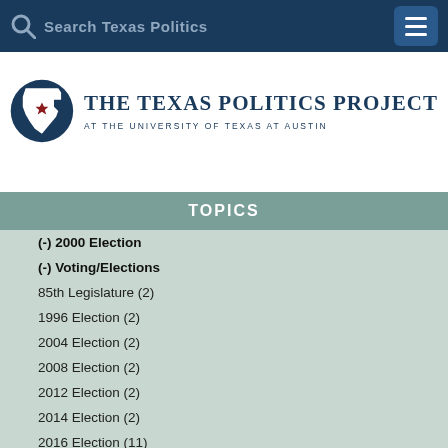Search Texas Politics
[Figure (logo): The Texas Politics Project at the University of Texas at Austin logo with Texas state silhouette and red star]
TOPICS
(-) 2000 Election
(-) Voting/Elections
85th Legislature (2)
1996 Election (2)
2004 Election (2)
2008 Election (2)
2012 Election (2)
2014 Election (2)
2016 Election (11)
2018 Election (1)